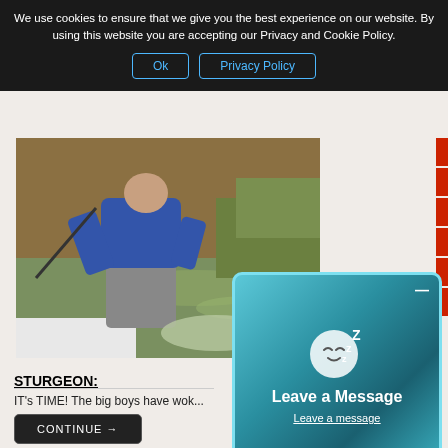We use cookies to ensure that we give you the best experience on our website. By using this website you are accepting our Privacy and Cookie Policy.
[Figure (photo): Person in waders and blue jacket standing on a boat, handling a large fish (sturgeon) over muddy water]
STURGEON:
IT's TIME! The big boys have wok...
[Figure (screenshot): Leave a Message popup overlay with teal swirl background, sleeping face emoji with Z letters, title 'Leave a Message', and 'Leave a message' link]
comments 0
Categories: Fishing Reports